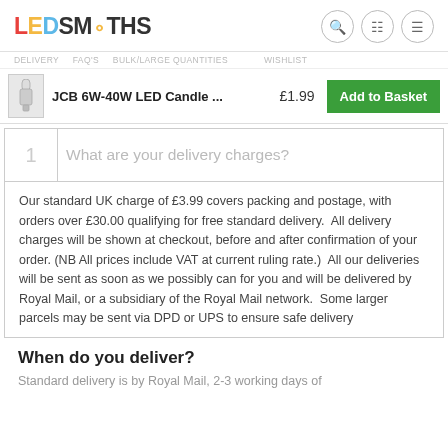LEDSMITHS
JCB 6W-40W LED Candle ... £1.99  Add to Basket
What are your delivery charges?
Our standard UK charge of £3.99 covers packing and postage, with orders over £30.00 qualifying for free standard delivery.  All delivery charges will be shown at checkout, before and after confirmation of your order. (NB All prices include VAT at current ruling rate.)  All our deliveries will be sent as soon as we possibly can for you and will be delivered by Royal Mail, or a subsidiary of the Royal Mail network.  Some larger parcels may be sent via DPD or UPS to ensure safe delivery
When do you deliver?
Standard delivery is by Royal Mail, 2-3 working days of